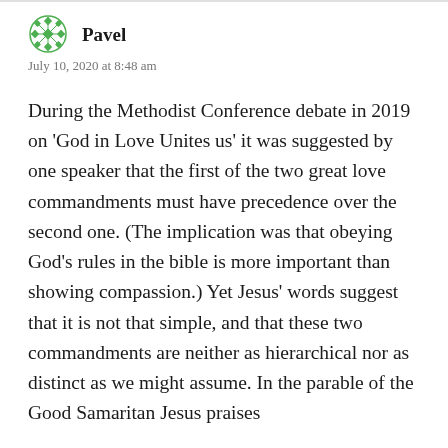Pavel
July 10, 2020 at 8:48 am
During the Methodist Conference debate in 2019 on ‘God in Love Unites us’ it was suggested by one speaker that the first of the two great love commandments must have precedence over the second one. (The implication was that obeying God’s rules in the bible is more important than showing compassion.) Yet Jesus’ words suggest that it is not that simple, and that these two commandments are neither as hierarchical nor as distinct as we might assume. In the parable of the Good Samaritan Jesus praises